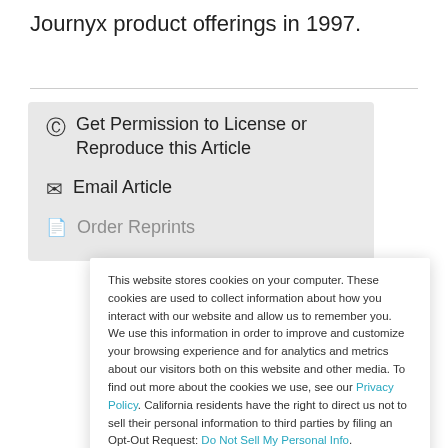Journyx product offerings in 1997.
© Get Permission to License or Reproduce this Article
✉ Email Article
Order Reprints
This website stores cookies on your computer. These cookies are used to collect information about how you interact with our website and allow us to remember you. We use this information in order to improve and customize your browsing experience and for analytics and metrics about our visitors both on this website and other media. To find out more about the cookies we use, see our Privacy Policy. California residents have the right to direct us not to sell their personal information to third parties by filing an Opt-Out Request: Do Not Sell My Personal Info.
Accept